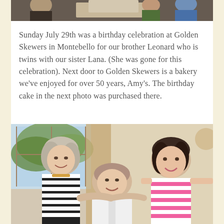[Figure (photo): Partial view of a group photo at the top of the page, cropped to show only a sliver at the top]
Sunday July 29th was a birthday celebration at Golden Skewers in Montebello for our brother Leonard who is twins with our sister Lana. (She was gone for this celebration). Next door to Golden Skewers is a bakery we've enjoyed for over 50 years, Amy's. The birthday cake in the next photo was purchased there.
[Figure (photo): Three people posing together indoors: a woman on the left in a black and white striped top with a necklace, a man in the center wearing a white shirt, and a woman on the right wearing a pink and white striped sleeveless top, all smiling]